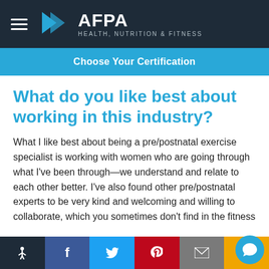[Figure (logo): AFPA Health, Nutrition & Fitness logo with chevron/arrow symbol on dark navy background, with hamburger menu icon]
Choose Your Certification
What do you like best about working in this industry?
What I like best about being a pre/postnatal exercise specialist is working with women who are going through what I've been through—we understand and relate to each other better. I've also found other pre/postnatal experts to be very kind and welcoming and willing to collaborate, which you sometimes don't find in the fitness
Accessibility | Facebook | Twitter | Pinterest | Email | SMS